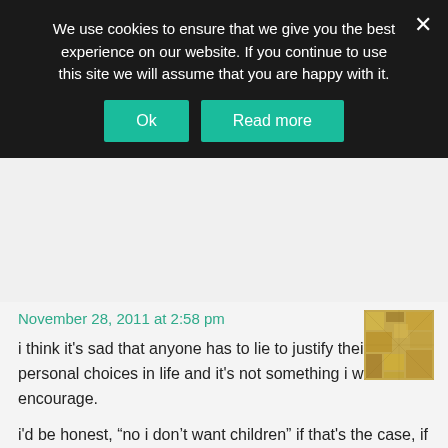We use cookies to ensure that we give you the best experience on our website. If you continue to use this site we will assume that you are happy with it.
Ok   Read more
November 28, 2011 at 2:58 pm
i think it's sad that anyone has to lie to justify their personal choices in life and it's not something i would encourage.
i'd be honest, “no i don’t want children” if that's the case, if people try to convince you that you will change your mind, i'd reply with “no i don't think so” and point out to them that as individuals we are all entitled to make our own choices about our life and just as you'd never try and convince them to give their children back, you'd prefer it if people didn't dismiss your choice in life.